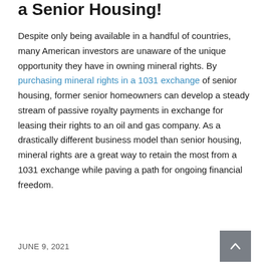a Senior Housing!
Despite only being available in a handful of countries, many American investors are unaware of the unique opportunity they have in owning mineral rights. By purchasing mineral rights in a 1031 exchange of senior housing, former senior homeowners can develop a steady stream of passive royalty payments in exchange for leasing their rights to an oil and gas company. As a drastically different business model than senior housing, mineral rights are a great way to retain the most from a 1031 exchange while paving a path for ongoing financial freedom.
JUNE 9, 2021